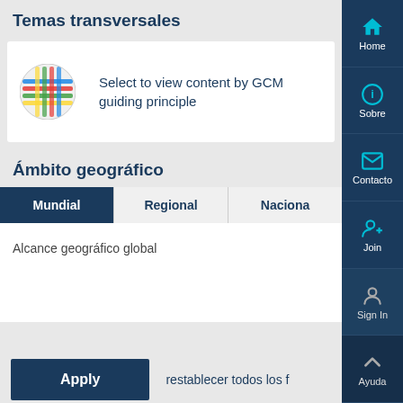Temas transversales
[Figure (screenshot): GCM guiding principle logo - colorful woven grid circle icon with red, green, blue, yellow colors]
Select to view content by GCM guiding principle
Ámbito geográfico
Mundial | Regional | Nacional (tabs)
Alcance geográfico global
Apply
restablecer todos los f
Home
Sobre
Contacto
Join
Sign In
Ayuda